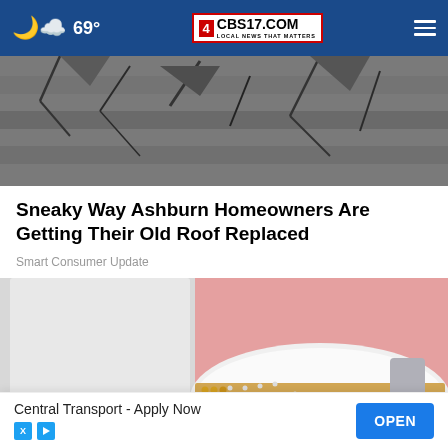69° CBS17.COM LOCAL NEWS THAT MATTERS
[Figure (photo): Close-up of damaged, cracked roof shingles in grayscale]
Sneaky Way Ashburn Homeowners Are Getting Their Old Roof Replaced
Smart Consumer Update
[Figure (photo): Person wearing white perforated sneakers with gold/brown accents, white pants, pink background]
Central Transport - Apply Now